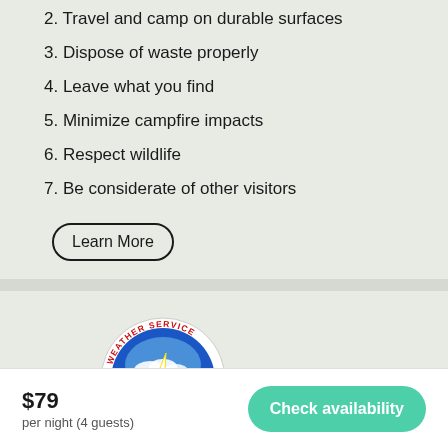2. Travel and camp on durable surfaces
3. Dispose of waste properly
4. Leave what you find
5. Minimize campfire impacts
6. Respect wildlife
7. Be considerate of other visitors
Learn More
[Figure (logo): National Weather Service circular logo with blue globe and lightning bolt]
$79
per night (4 guests)
Check availability